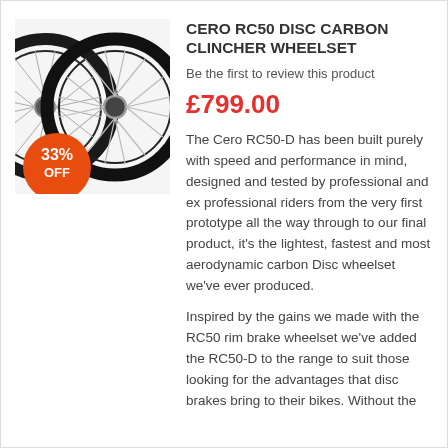[Figure (photo): Two carbon bicycle wheels (Cero RC50 Disc Carbon Clincher Wheelset) shown side by side, black carbon rims with silver spokes and hub, with an orange 33% OFF discount badge overlaid at lower left]
CERO RC50 DISC CARBON CLINCHER WHEELSET
Be the first to review this product
£799.00
The Cero RC50-D has been built purely with speed and performance in mind, designed and tested by professional and ex professional riders from the very first prototype all the way through to our final product, it's the lightest, fastest and most aerodynamic carbon Disc wheelset we've ever produced.
Inspired by the gains we made with the RC50 rim brake wheelset we've added the RC50-D to the range to suit those looking for the advantages that disc brakes bring to their bikes. Without the